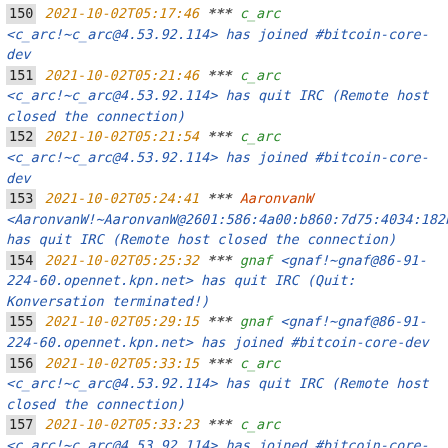150 2021-10-02T05:17:46 *** c_arc <c_arc!~c_arc@4.53.92.114> has joined #bitcoin-core-dev
151 2021-10-02T05:21:46 *** c_arc <c_arc!~c_arc@4.53.92.114> has quit IRC (Remote host closed the connection)
152 2021-10-02T05:21:54 *** c_arc <c_arc!~c_arc@4.53.92.114> has joined #bitcoin-core-dev
153 2021-10-02T05:24:41 *** AaronvanW <AaronvanW!~AaronvanW@2601:586:4a00:b860:7d75:4034:182b:c has quit IRC (Remote host closed the connection)
154 2021-10-02T05:25:32 *** gnaf <gnaf!~gnaf@86-91-224-60.opennet.kpn.net> has quit IRC (Quit: Konversation terminated!)
155 2021-10-02T05:29:15 *** gnaf <gnaf!~gnaf@86-91-224-60.opennet.kpn.net> has joined #bitcoin-core-dev
156 2021-10-02T05:33:15 *** c_arc <c_arc!~c_arc@4.53.92.114> has quit IRC (Remote host closed the connection)
157 2021-10-02T05:33:23 *** c_arc <c_arc!~c_arc@4.53.92.114> has joined #bitcoin-core-dev
158 2021-10-02T05:37:23 *** c_arc <c_arc!~c_arc@4.53.92.114> has quit IRC (Remote host closed the connection)
159 2021-10-02T05:37:32 *** c_arc <c_arc!~c_arc@4.53.92.114> has joined #bitcoin-core-dev
160 2021-10-02T05:41:33 *** c_arc <c_arc!~c_arc@4.53.92.114> has quit IRC (Remote host closed the connection)